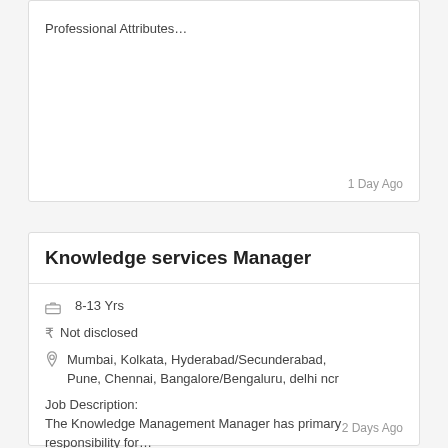Professional Attributes…
1 Day Ago
Knowledge services Manager
8-13 Yrs
Not disclosed
Mumbai, Kolkata, Hyderabad/Secunderabad, Pune, Chennai, Bangalore/Bengaluru, delhi ncr
Job Description:
The Knowledge Management Manager has primary responsibility for…
2 Days Ago